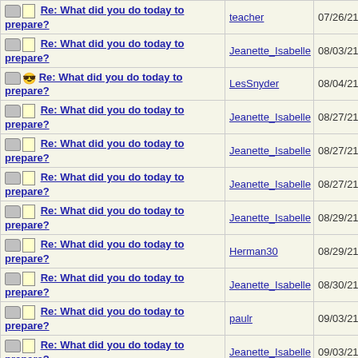| Subject | Author | Date |
| --- | --- | --- |
| Re: What did you do today to prepare? | teacher | 07/26/21 10:35 P |
| Re: What did you do today to prepare? | Jeanette_Isabelle | 08/03/21 12:22 P |
| Re: What did you do today to prepare? | LesSnyder | 08/04/21 12:49 A |
| Re: What did you do today to prepare? | Jeanette_Isabelle | 08/27/21 12:46 A |
| Re: What did you do today to prepare? | Jeanette_Isabelle | 08/27/21 04:20 P |
| Re: What did you do today to prepare? | Jeanette_Isabelle | 08/27/21 05:58 P |
| Re: What did you do today to prepare? | Jeanette_Isabelle | 08/29/21 08:01 P |
| Re: What did you do today to prepare? | Herman30 | 08/29/21 08:26 P |
| Re: What did you do today to prepare? | Jeanette_Isabelle | 08/30/21 11:18 A |
| Re: What did you do today to prepare? | paulr | 09/03/21 09:02 A |
| Re: What did you do today to prepare? | Jeanette_Isabelle | 09/03/21 12:24 P |
| Re: What did you do | nforeman | 09/03/21 02:41 |